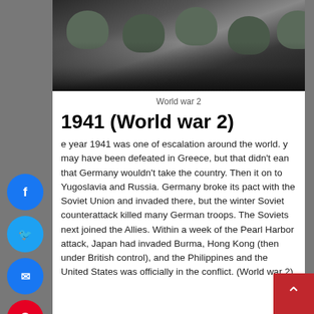[Figure (photo): Black and white photograph of soldiers wearing helmets, viewed from behind/side, crowded together]
World war 2
1941 (World war 2)
The year 1941 was one of escalation around the world. They may have been defeated in Greece, but that didn't mean that Germany wouldn't take the country. Then it moved on to Yugoslavia and Russia. Germany broke its pact with the Soviet Union and invaded there, but the winter Soviet counterattack killed many German troops. The Soviets next joined the Allies. Within a week of the Pearl Harbor attack, Japan had invaded Burma, Hong Kong (then under British control), and the Philippines and the United States was officially in the conflict. (World war 2)